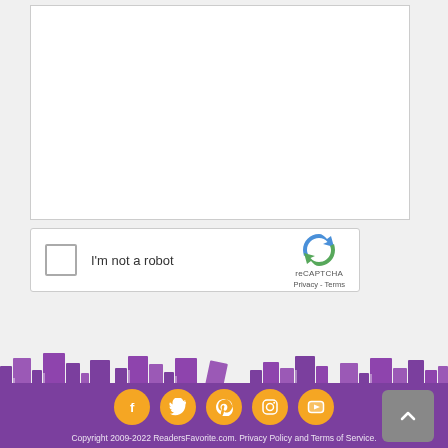[Figure (screenshot): reCAPTCHA widget with checkbox labeled I'm not a robot and reCAPTCHA logo]
Add Comment/Review
[Figure (illustration): Purple bookshelves banner illustration at the bottom of the page]
[Figure (infographic): Social media icons: Facebook, Twitter, Pinterest, Instagram, YouTube on orange circles]
Copyright 2009-2022 ReadersFavorite.com. Privacy Policy and Terms of Service.